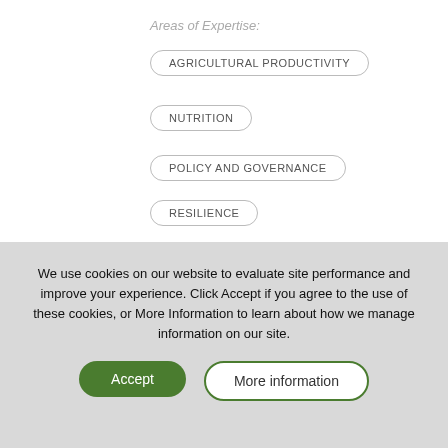Areas of Expertise:
AGRICULTURAL PRODUCTIVITY
NUTRITION
POLICY AND GOVERNANCE
RESILIENCE
We use cookies on our website to evaluate site performance and improve your experience. Click Accept if you agree to the use of these cookies, or More Information to learn about how we manage information on our site.
Accept
More information